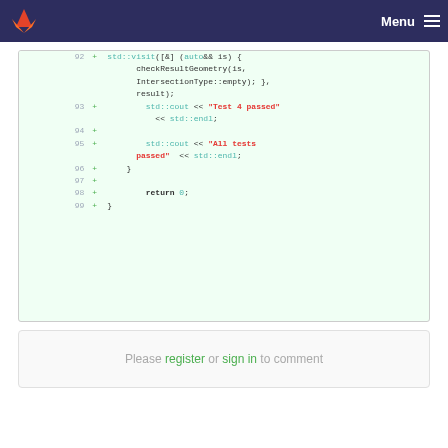Menu
[Figure (screenshot): GitLab code diff viewer showing lines 92-99 of a C++ test file with added lines (green background), including std::visit, checkResultGeometry, IntersectionType::empty, std::cout with string literals 'Test 4 passed' and 'All tests passed', return 0, and closing brace.]
Please register or sign in to comment